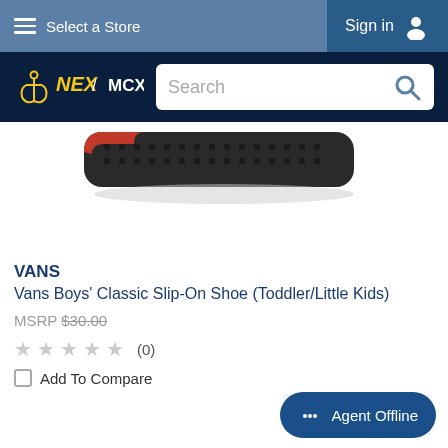Select a Store   Sign in
[Figure (logo): NEX / MCX logo with anchor icon on dark navy background, with search box]
[Figure (photo): Partial view of a Vans Boys Classic Slip-On Shoe, showing the dark sole and bottom of the shoe]
VANS
Vans Boys' Classic Slip-On Shoe (Toddler/Little Kids)
MSRP $30.00
★★★★★ (0)
Add To Compare